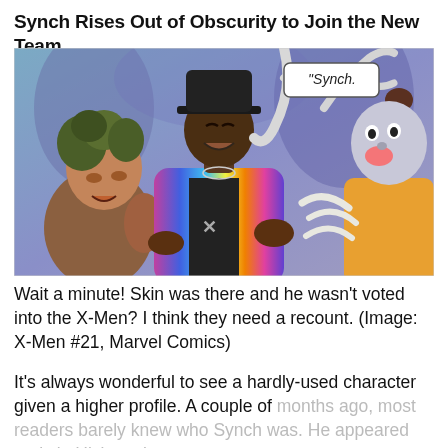Synch Rises Out of Obscurity to Join the New Team
[Figure (illustration): Comic book panel showing three characters: a curly-haired person on the left, a Black man in a colorful iridescent jacket and hat in the center labeled 'Synch.' in a speech bubble, and a grey-skinned shouting figure on the right with long claws.]
Wait a minute! Skin was there and he wasn't voted into the X-Men? I think they need a recount. (Image: X-Men #21, Marvel Comics)
It's always wonderful to see a hardly-used character given a higher profile. A couple of months ago, most readers barely knew who Synch was. He appeared early in Hickman's run